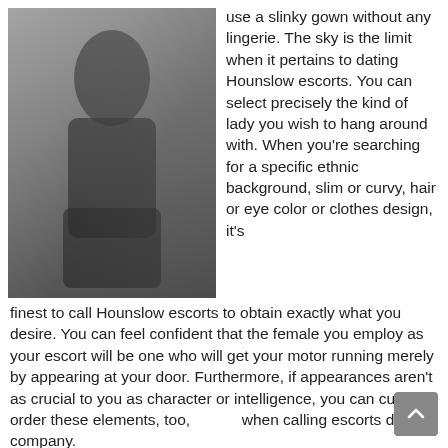[Figure (photo): Black and white photograph of a woman in black lingerie posing against a textured wall]
use a slinky gown without any lingerie. The sky is the limit when it pertains to dating Hounslow escorts. You can select precisely the kind of lady you wish to hang around with. When you're searching for a specific ethnic background, slim or curvy, hair or eye color or clothes design, it's finest to call Hounslow escorts to obtain exactly what you desire. You can feel confident that the female you employ as your escort will be one who will get your motor running merely by appearing at your door. Furthermore, if appearances aren't as crucial to you as character or intelligence, you can custom-order these elements, too, when calling escorts dating company.